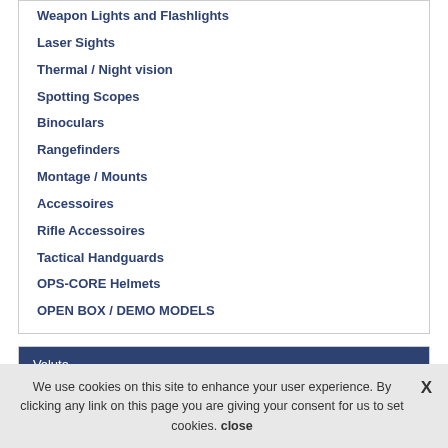Weapon Lights and Flashlights
Laser Sights
Thermal / Night vision
Spotting Scopes
Binoculars
Rangefinders
Montage / Mounts
Accessoires
Rifle Accessoires
Tactical Handguards
OPS-CORE Helmets
OPEN BOX / DEMO MODELS
Valuta
Euro
We use cookies on this site to enhance your user experience. By clicking any link on this page you are giving your consent for us to set cookies. close